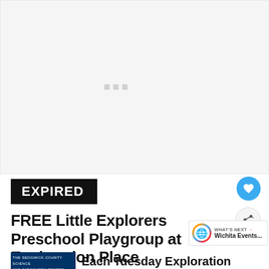[Figure (photo): Large image placeholder area with loading indicator dots, light grey background]
EXPIRED
FREE Little Explorers Preschool Playgroup at Exploration Place
[Figure (logo): Exploration Place logo — dark blue background with white text]
Each Tuesday Exploration